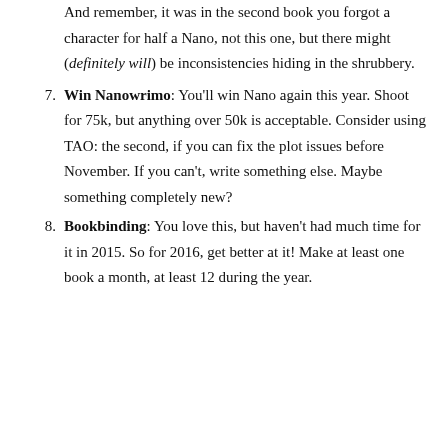And remember, it was in the second book you forgot a character for half a Nano, not this one, but there might (definitely will) be inconsistencies hiding in the shrubbery.
7. Win Nanowrimo: You'll win Nano again this year. Shoot for 75k, but anything over 50k is acceptable. Consider using TAO: the second, if you can fix the plot issues before November. If you can't, write something else. Maybe something completely new?
8. Bookbinding: You love this, but haven't had much time for it in 2015. So for 2016, get better at it! Make at least one book a month, at least 12 during the year.